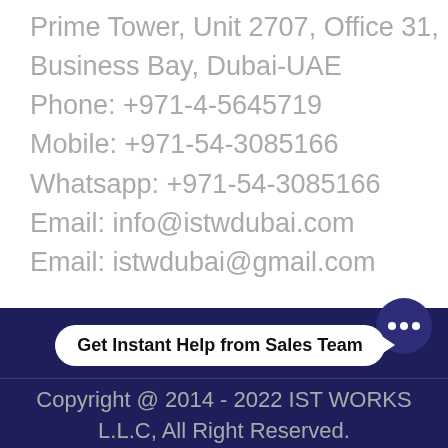Prime Tower, Unit 2707, Office 31, Business Bay, Dubai-UAE
Phone: +971-4-5645719
Mobile: +971-54-3085166
Whatsapp: +971-54-3085166
Email: info@istwdubai.com
Email: istwdubai@gmail.com
Get Instant Help from Sales Team
Copyright @ 2014 - 2022 IST WORKS L.L.C, All Right Reserved.